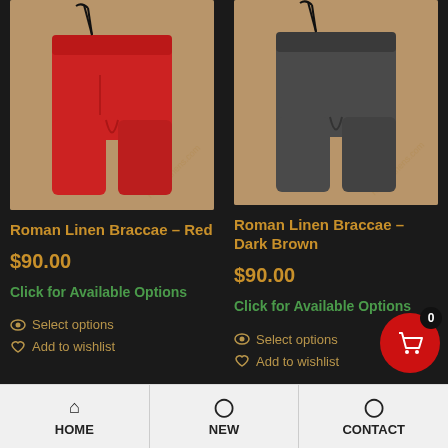[Figure (photo): Red Roman Linen Braccae pants laid flat on burlap background, with black drawstring tie at top]
Roman Linen Braccae – Red
$90.00
Click for Available Options
Select options
Add to wishlist
[Figure (photo): Dark brown/charcoal Roman Linen Braccae pants laid flat on burlap background, with black drawstring tie at top]
Roman Linen Braccae – Dark Brown
$90.00
Click for Available Options
Select options
Add to wishlist
HOME   NEW   CONTACT